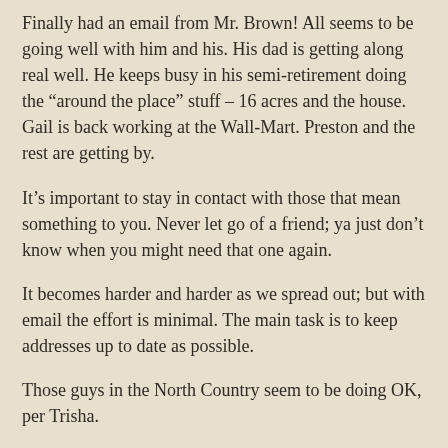Finally had an email from Mr. Brown! All seems to be going well with him and his. His dad is getting along real well. He keeps busy in his semi-retirement doing the “around the place” stuff – 16 acres and the house. Gail is back working at the Wall-Mart. Preston and the rest are getting by.
It’s important to stay in contact with those that mean something to you. Never let go of a friend; ya just don’t know when you might need that one again.
It becomes harder and harder as we spread out; but with email the effort is minimal. The main task is to keep addresses up to date as possible.
Those guys in the North Country seem to be doing OK, per Trisha.
Dave Gaskins has started a new adventure just recently.
I even heard from a cousin on Facebook today!
We here keep movin’ forward.